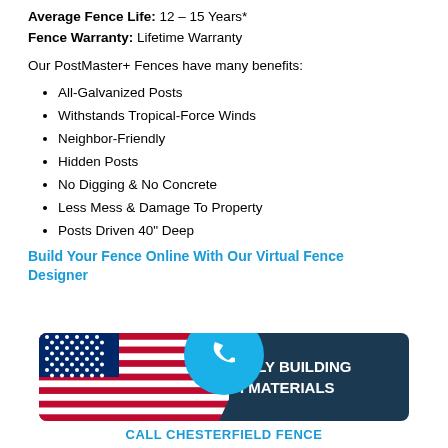Average Fence Life: 12 – 15 Years*
Fence Warranty: Lifetime Warranty
Our PostMaster+ Fences have many benefits:
All-Galvanized Posts
Withstands Tropical-Force Winds
Neighbor-Friendly
Hidden Posts
No Digging & No Concrete
Less Mess & Damage To Property
Posts Driven 40" Deep
Build Your Fence Online With Our Virtual Fence Designer
[Figure (logo): Chesterfield Fence logo banner with American flag, phone icon circle, and text 'PROUDLY BUILDING WITH AMERICAN MATERIALS' and 'CALL CHESTERFIELD FENCE']